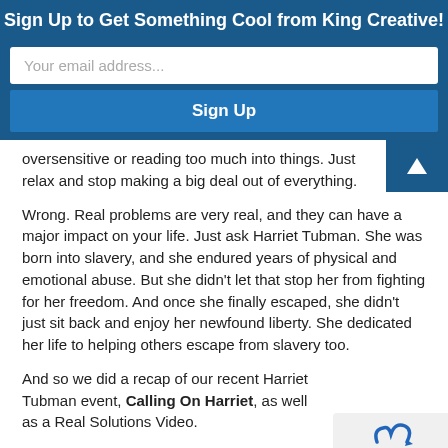Sign Up to Get Something Cool from King Creative!
Your email address...
Sign Up
oversensitive or reading too much into things. Just relax and stop making a big deal out of everything.
Wrong. Real problems are very real, and they can have a major impact on your life. Just ask Harriet Tubman.  She was born into slavery, and she endured years of physical and emotional abuse. But she didn't let that stop her from fighting for her freedom. And once she finally escaped, she didn't just sit back and enjoy her newfound liberty. She dedicated her life to helping others escape from slavery too.
And so we did a recap of our recent Harriet Tubman event, Calling On Harriet, as well as a Real Solutions Video.
Thank you for helping us get through another week that was